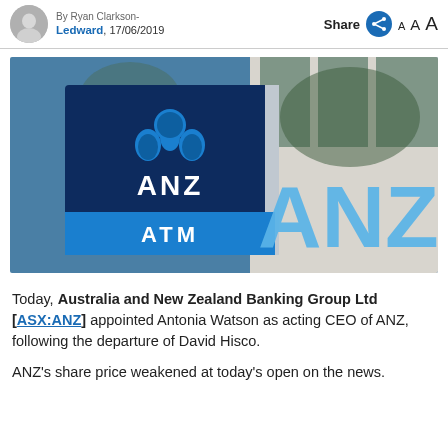By Ryan Clarkson-Ledward, 17/06/2019
[Figure (photo): ANZ Bank ATM sign and 3D ANZ logo letters on building exterior]
Today, Australia and New Zealand Banking Group Ltd [ASX:ANZ] appointed Antonia Watson as acting CEO of ANZ, following the departure of David Hisco.
ANZ's share price weakened at today's open on the news.